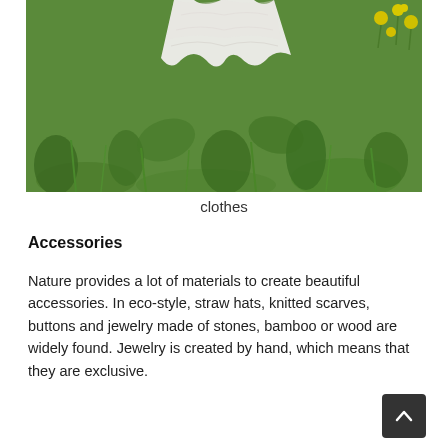[Figure (photo): A person wearing a white flowing/ruffled dress or skirt standing in a grassy field with green plants and yellow wildflowers visible in the upper right corner.]
clothes
Accessories
Nature provides a lot of materials to create beautiful accessories. In eco-style, straw hats, knitted scarves, buttons and jewelry made of stones, bamboo or wood are widely found. Jewelry is created by hand, which means that they are exclusive.